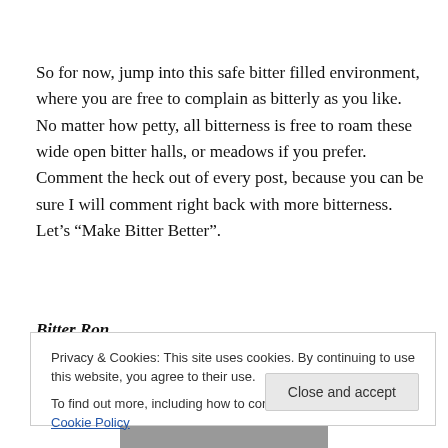So for now, jump into this safe bitter filled environment, where you are free to complain as bitterly as you like.  No matter how petty, all bitterness is free to roam these wide open bitter halls, or meadows if you prefer. Comment the heck out of every post, because you can be sure I will comment right back with more bitterness.  Let’s “Make Bitter Better”.
Bitter Ron
Privacy & Cookies: This site uses cookies. By continuing to use this website, you agree to their use.
To find out more, including how to control cookies, see here: Cookie Policy